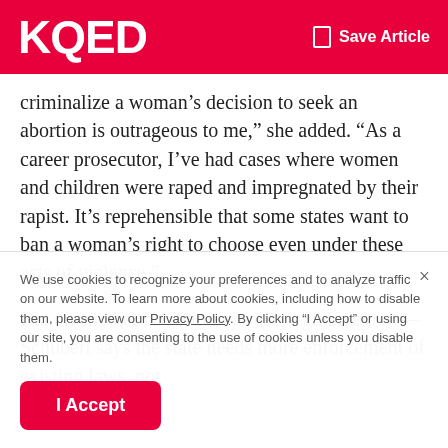KQED   Save Article
criminalize a woman’s decision to seek an abortion is outrageous to me,” she added. “As a career prosecutor, I’ve had cases where women and children were raped and impregnated by their rapist. It’s reprehensible that some states want to ban a woman’s right to choose even under these acts of violence.”
But on another hot-button issue — gun control — Schubert says the state needs more enforcement of existing laws, not
We use cookies to recognize your preferences and to analyze traffic on our website. To learn more about cookies, including how to disable them, please view our Privacy Policy. By clicking “I Accept” or using our site, you are consenting to the use of cookies unless you disable them.
I Accept